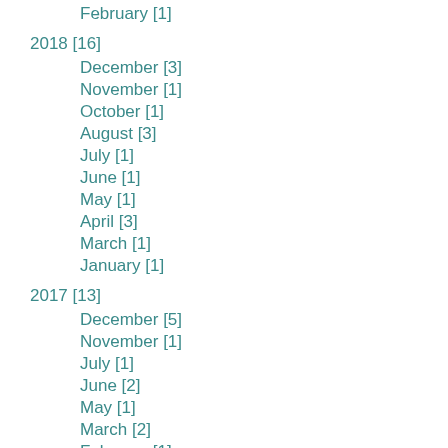February [1]
2018 [16]
December [3]
November [1]
October [1]
August [3]
July [1]
June [1]
May [1]
April [3]
March [1]
January [1]
2017 [13]
December [5]
November [1]
July [1]
June [2]
May [1]
March [2]
February [1]